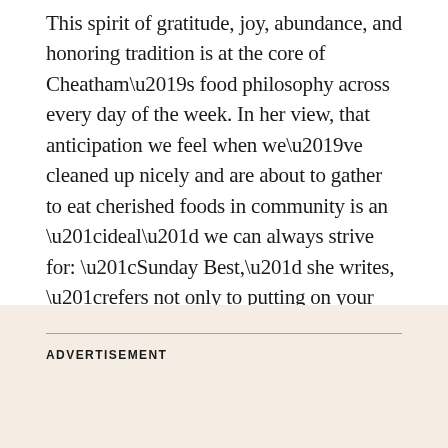This spirit of gratitude, joy, abundance, and honoring tradition is at the core of Cheatham’s food philosophy across every day of the week. In her view, that anticipation we feel when we’ve cleaned up nicely and are about to gather to eat cherished foods in community is an “ideal” we can always strive for: “Sunday Best,” she writes, “refers not only to putting on your best clothes but also your best attitude.”
ADVERTISEMENT